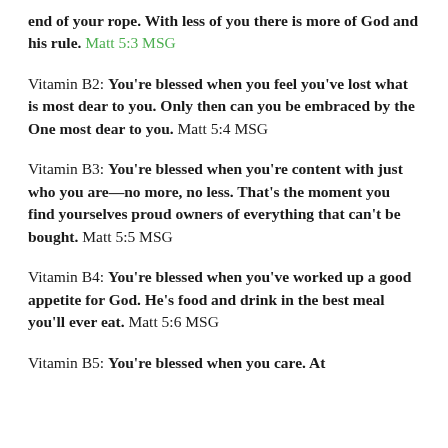end of your rope. With less of you there is more of God and his rule. Matt 5:3 MSG
Vitamin B2: You're blessed when you feel you've lost what is most dear to you. Only then can you be embraced by the One most dear to you. Matt 5:4 MSG
Vitamin B3: You're blessed when you're content with just who you are—no more, no less. That's the moment you find yourselves proud owners of everything that can't be bought. Matt 5:5 MSG
Vitamin B4: You're blessed when you've worked up a good appetite for God. He's food and drink in the best meal you'll ever eat. Matt 5:6 MSG
Vitamin B5: You're blessed when you care. At